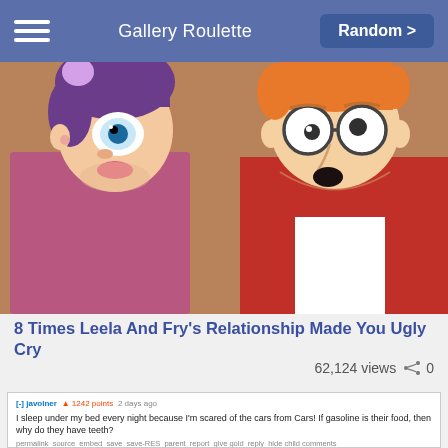Gallery Roulette   Random >
[Figure (illustration): Animated cartoon image of Leela and Fry from Futurama facing each other, Leela with purple hair on the left, Fry with orange hair and round glasses on the right]
8 Times Leela And Fry's Relationship Made You Ugly Cry
62,124 views    0
[Figure (screenshot): Reddit comment overlay on top of a Cars movie image. Comment reads: '1242 points 2 days ago I sleep under my bed every night because I'm scared of the cars from Cars! If gasoline is their food, then why do they have teeth?' with action links below. Below the comment is an image of cartoon cars from the Pixar movie Cars including Lightning McQueen.]